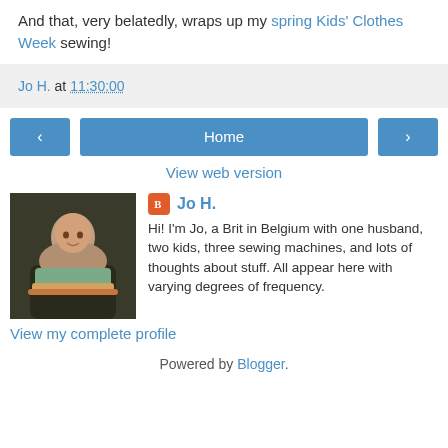And that, very belatedly, wraps up my spring Kids' Clothes Week sewing!
Jo H. at 11:30:00
< Home >
View web version
Jo H.
Hi! I'm Jo, a Brit in Belgium with one husband, two kids, three sewing machines, and lots of thoughts about stuff. All appear here with varying degrees of frequency.
View my complete profile
Powered by Blogger.